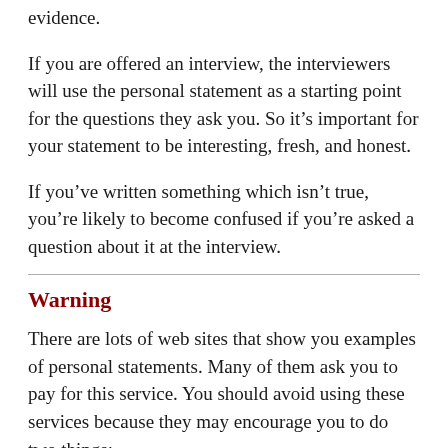evidence.
If you are offered an interview, the interviewers will use the personal statement as a starting point for the questions they ask you. So it’s important for your statement to be interesting, fresh, and honest.
If you’ve written something which isn’t true, you’re likely to become confused if you’re asked a question about it at the interview.
Warning
There are lots of web sites that show you examples of personal statements. Many of them ask you to pay for this service. You should avoid using these services because they may encourage you to do two things: